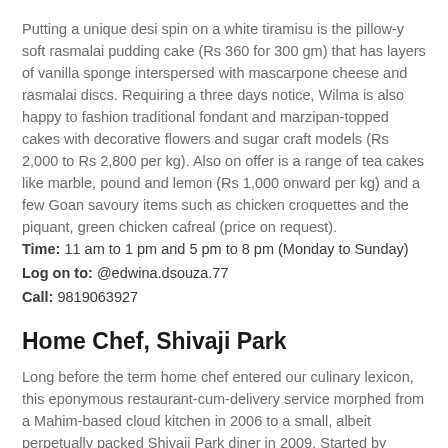Putting a unique desi spin on a white tiramisu is the pillow-y soft rasmalai pudding cake (Rs 360 for 300 gm) that has layers of vanilla sponge interspersed with mascarpone cheese and rasmalai discs. Requiring a three days notice, Wilma is also happy to fashion traditional fondant and marzipan-topped cakes with decorative flowers and sugar craft models (Rs 2,000 to Rs 2,800 per kg). Also on offer is a range of tea cakes like marble, pound and lemon (Rs 1,000 onward per kg) and a few Goan savoury items such as chicken croquettes and the piquant, green chicken cafreal (price on request).
Time: 11 am to 1 pm and 5 pm to 8 pm (Monday to Sunday)
Log on to: @edwina.dsouza.77
Call: 9819063927
Home Chef, Shivaji Park
Long before the term home chef entered our culinary lexicon, this eponymous restaurant-cum-delivery service morphed from a Mahim-based cloud kitchen in 2006 to a small, albeit perpetually packed Shivaji Park diner in 2009. Started by